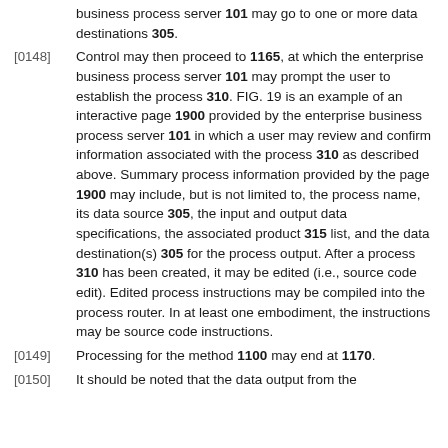business process server 101 may go to one or more data destinations 305.
[0148] Control may then proceed to 1165, at which the enterprise business process server 101 may prompt the user to establish the process 310. FIG. 19 is an example of an interactive page 1900 provided by the enterprise business process server 101 in which a user may review and confirm information associated with the process 310 as described above. Summary process information provided by the page 1900 may include, but is not limited to, the process name, its data source 305, the input and output data specifications, the associated product 315 list, and the data destination(s) 305 for the process output. After a process 310 has been created, it may be edited (i.e., source code edit). Edited process instructions may be compiled into the process router. In at least one embodiment, the instructions may be source code instructions.
[0149] Processing for the method 1100 may end at 1170.
[0150] It should be noted that the data output from the